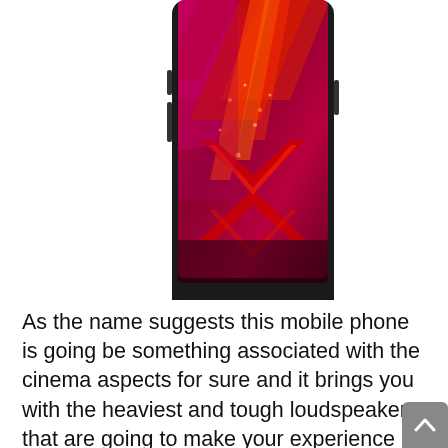[Figure (photo): A smartphone with a red and pink abstract lightning bolt/arrow wallpaper displayed on its screen, shown in portrait orientation, cropped at the top.]
As the name suggests this mobile phone is going be something associated with the cinema aspects for sure and it brings you with the heaviest and tough loudspeakers that are going to make your experience incredible to go for. So, enjoying music and movies over this phone would be giving you